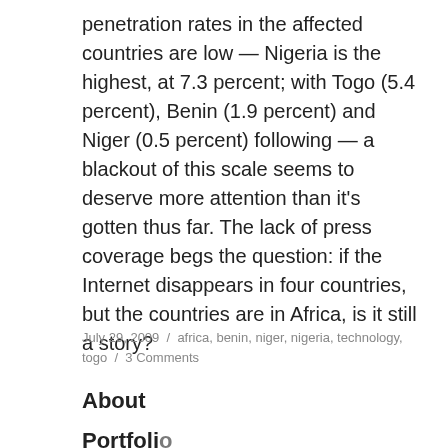penetration rates in the affected countries are low — Nigeria is the highest, at 7.3 percent; with Togo (5.4 percent), Benin (1.9 percent) and Niger (0.5 percent) following — a blackout of this scale seems to deserve more attention than it's gotten thus far. The lack of press coverage begs the question: if the Internet disappears in four countries, but the countries are in Africa, is it still a story?
July 29, 2009 / africa, benin, niger, nigeria, technology, togo / 3 Comments
About